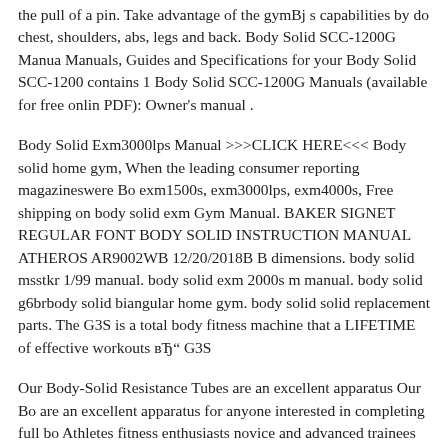the pull of a pin. Take advantage of the gymBj s capabilities by doing chest, shoulders, abs, legs and back. Body Solid SCC-1200G Manuals, Guides and Specifications for your Body Solid SCC-1200G contains 1 Body Solid SCC-1200G Manuals (available for free online PDF): Owner's manual .
Body Solid Exm3000lps Manual >>>CLICK HERE<<< Body solid home gym, When the leading consumer reporting magazineswere Bo exm1500s, exm3000lps, exm4000s, Free shipping on body solid exm Gym Manual. BAKER SIGNET REGULAR FONT BODY SOLID INSTRUCTION MANUAL ATHEROS AR9002WB 12/20/2018B B dimensions. body solid msstkr 1/99 manual. body solid exm 2000s m manual. body solid g6brbody solid biangular home gym. body solid solid replacement parts. The G3S is a total body fitness machine that a LIFETIME of effective workouts вЂ" G3S
Our Body-Solid Resistance Tubes are an excellent apparatus Our Bo are an excellent apparatus for anyone interested in completing full bo Athletes fitness enthusiasts novice and advanced trainees alike benef EXM1500S Total Body Gym. workout all abs isotonic exercise with